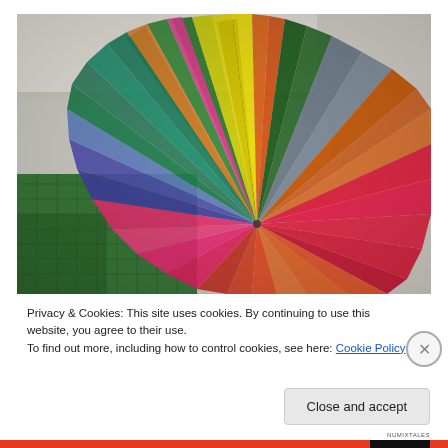[Figure (photo): A colorful fan-shaped accordion book made of many sheets of colored paper (red, orange, pink, green, blue, yellow, purple) fanned out in a radial pattern on a green cutting mat background.]
Privacy & Cookies: This site uses cookies. By continuing to use this website, you agree to their use.
To find out more, including how to control cookies, see here: Cookie Policy
Close and accept